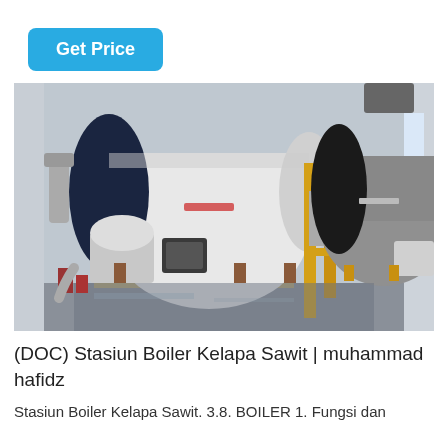Get Price
[Figure (photo): Industrial boiler station showing two large horizontal cylindrical boilers in a factory building. The boilers are white and silver with black domed ends, connected by yellow piping. The facility has a concrete floor and corrugated metal roof with windows.]
(DOC) Stasiun Boiler Kelapa Sawit | muhammad hafidz
Stasiun Boiler Kelapa Sawit. 3.8. BOILER 1. Fungsi dan